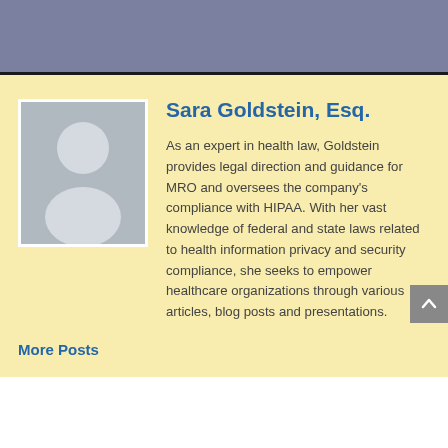Sara Goldstein, Esq.
As an expert in health law, Goldstein provides legal direction and guidance for MRO and oversees the company's compliance with HIPAA. With her vast knowledge of federal and state laws related to health information privacy and security compliance, she seeks to empower healthcare organizations through various articles, blog posts and presentations.
More Posts